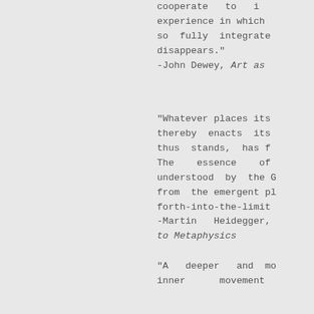cooperate to i
experience in which
so fully integrate
disappears."
-John Dewey, Art as
"Whatever places its
thereby enacts its
thus stands, has f
The essence of
understood by the G
from the emergent pl
forth-into-the-limit
-Martin Heidegger,
to Metaphysics
"A deeper and mo
inner movement